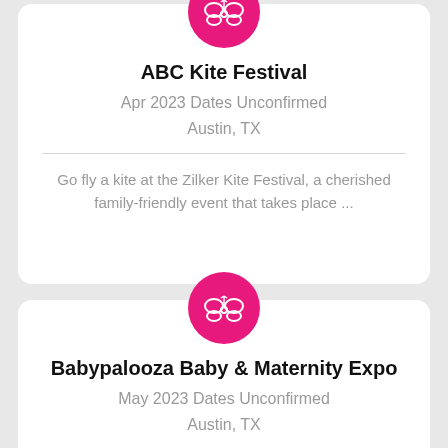[Figure (logo): Pink circle with white butterfly icon - ABC Kite Festival logo]
ABC Kite Festival
Apr 2023 Dates Unconfirmed
Austin, TX
Go fly a kite at the Zilker Kite Festival, a cherished family-friendly event that takes place ...
[Figure (logo): Pink circle with white butterfly icon - Babypalooza logo]
Babypalooza Baby & Maternity Expo
May 2023 Dates Unconfirmed
Austin, TX
Before your baby makes its grand exit from the mighty utorus, there are many useful tidbits to